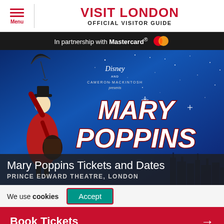VISIT LONDON
OFFICIAL VISITOR GUIDE
In partnership with Mastercard®
[Figure (photo): Mary Poppins musical promotional image showing actress in red coat holding umbrella aloft against starry blue sky background, with large MARY POPPINS title text. Disney and Cameron Mackintosh presents. Prince Edward Theatre, London.]
Mary Poppins Tickets and Dates
PRINCE EDWARD THEATRE, LONDON
We use cookies  Accept
Book Tickets →